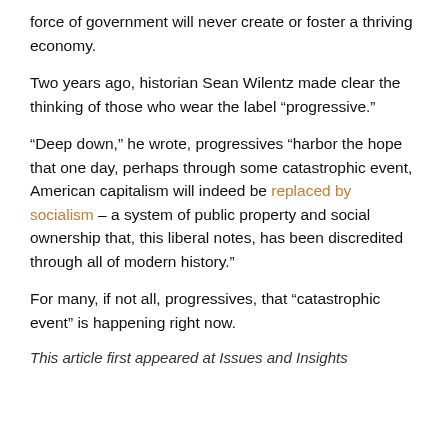force of government will never create or foster a thriving economy.
Two years ago, historian Sean Wilentz made clear the thinking of those who wear the label “progressive.”
“Deep down,” he wrote, progressives “harbor the hope that one day, perhaps through some catastrophic event, American capitalism will indeed be replaced by socialism – a system of public property and social ownership that, this liberal notes, has been discredited through all of modern history.”
For many, if not all, progressives, that “catastrophic event” is happening right now.
This article first appeared at Issues and Insights